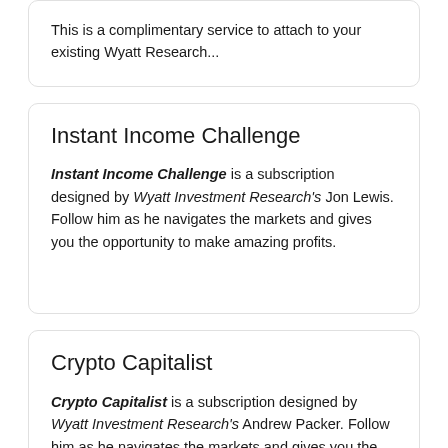This is a complimentary service to attach to your existing Wyatt Research...
Instant Income Challenge
Instant Income Challenge is a subscription designed by Wyatt Investment Research's Jon Lewis. Follow him as he navigates the markets and gives you the opportunity to make amazing profits.
Crypto Capitalist
Crypto Capitalist is a subscription designed by Wyatt Investment Research's Andrew Packer. Follow him as he navigates the markets and gives you the opportunity to make amazing profits with cryptocurrency.